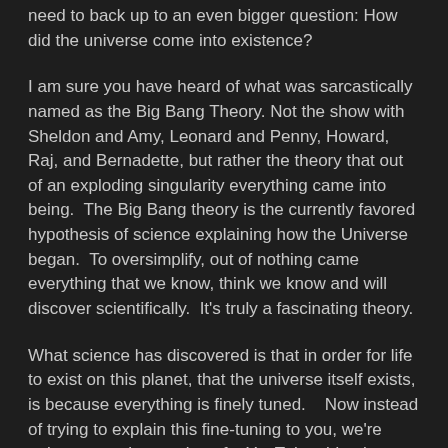need to back up to an even bigger question: How did the universe come into existence?
I am sure you have heard of what was sarcastically named as the Big Bang Theory. Not the show with Sheldon and Amy, Leonard and Penny, Howard, Raj, and Bernadette, but rather the theory that out of an exploding singularity everything came into being.  The Big Bang theory is the currently favored hypothesis of science explaining how the Universe began.  To oversimplify, out of nothing came everything that we know, think we know and will discover scientifically.  It's truly a fascinating theory.
What science has discovered is that in order for life to exist on this planet, that the universe itself exists, is because everything is finely tuned.   Now instead of trying to explain this fine-tuning to you, we're going to watch a portion of a YouTube video by William Lane Craig called "The Fine-Tuning of the Universe"